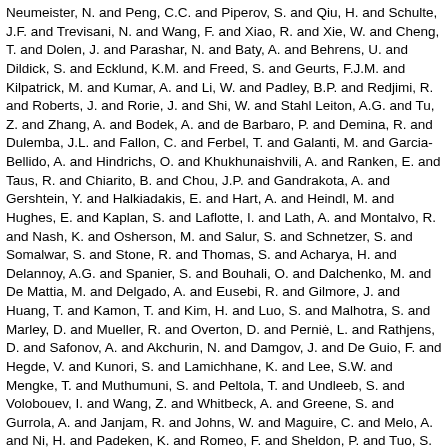Neumeister, N. and Peng, C.C. and Piperov, S. and Qiu, H. and Schulte, J.F. and Trevisani, N. and Wang, F. and Xiao, R. and Xie, W. and Cheng, T. and Dolen, J. and Parashar, N. and Baty, A. and Behrens, U. and Dildick, S. and Ecklund, K.M. and Freed, S. and Geurts, F.J.M. and Kilpatrick, M. and Kumar, A. and Li, W. and Padley, B.P. and Redjimi, R. and Roberts, J. and Rorie, J. and Shi, W. and Stahl Leiton, A.G. and Tu, Z. and Zhang, A. and Bodek, A. and de Barbaro, P. and Demina, R. and Dulemba, J.L. and Fallon, C. and Ferbel, T. and Galanti, M. and Garcia-Bellido, A. and Hindrichs, O. and Khukhunaishvili, A. and Ranken, E. and Taus, R. and Chiarito, B. and Chou, J.P. and Gandrakota, A. and Gershtein, Y. and Halkiadakis, E. and Hart, A. and Heindl, M. and Hughes, E. and Kaplan, S. and Laflotte, I. and Lath, A. and Montalvo, R. and Nash, K. and Osherson, M. and Salur, S. and Schnetzer, S. and Somalwar, S. and Stone, R. and Thomas, S. and Acharya, H. and Delannoy, A.G. and Spanier, S. and Bouhali, O. and Dalchenko, M. and De Mattia, M. and Delgado, A. and Eusebi, R. and Gilmore, J. and Huang, T. and Kamon, T. and Kim, H. and Luo, S. and Malhotra, S. and Marley, D. and Mueller, R. and Overton, D. and Perniė, L. and Rathjens, D. and Safonov, A. and Akchurin, N. and Damgov, J. and De Guio, F. and Hegde, V. and Kunori, S. and Lamichhane, K. and Lee, S.W. and Mengke, T. and Muthumuni, S. and Peltola, T. and Undleeb, S. and Volobouev, I. and Wang, Z. and Whitbeck, A. and Greene, S. and Gurrola, A. and Janjam, R. and Johns, W. and Maguire, C. and Melo, A. and Ni, H. and Padeken, K. and Romeo, F. and Sheldon, P. and Tuo, S. and Velkovska, J. and Verweij, M. and Arenton, M.W. and Barria, P. and Cox, B. and Cummings, G. and Hakala, J. and Hirosky, R. and Joyce, M. and Ledovskoy, A. and Neu, C. and Tannenwald, B. and Wang, Y. and Wolfe, E. and Xia, F. and Harr, R. and Karchin, P.E. and Poudyal, N. and Sturdy, J. and Thapa, P. and Black, K. and Bose, T. and Buchanan, J. and Caillol, C. and Carlsmith, D. and Dasu, S. and De Bruyn, I. and Dodd, L. and Galloni, C. and He, H. and Herndon, M. and Hervé, A. and Hussain, U. and Lanaro, A. and Loeliger, A. and Loveless, R. and Madhusudanan Sreekala, J. and Mallampalli